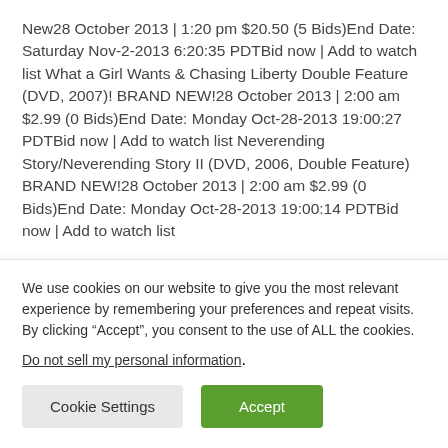New28 October 2013 | 1:20 pm $20.50 (5 Bids)End Date: Saturday Nov-2-2013 6:20:35 PDTBid now | Add to watch list What a Girl Wants & Chasing Liberty Double Feature (DVD, 2007)! BRAND NEW!28 October 2013 | 2:00 am $2.99 (0 Bids)End Date: Monday Oct-28-2013 19:00:27 PDTBid now | Add to watch list Neverending Story/Neverending Story II (DVD, 2006, Double Feature) BRAND NEW!28 October 2013 | 2:00 am $2.99 (0 Bids)End Date: Monday Oct-28-2013 19:00:14 PDTBid now | Add to watch list
We use cookies on our website to give you the most relevant experience by remembering your preferences and repeat visits. By clicking “Accept”, you consent to the use of ALL the cookies.
Do not sell my personal information.
Cookie Settings
Accept